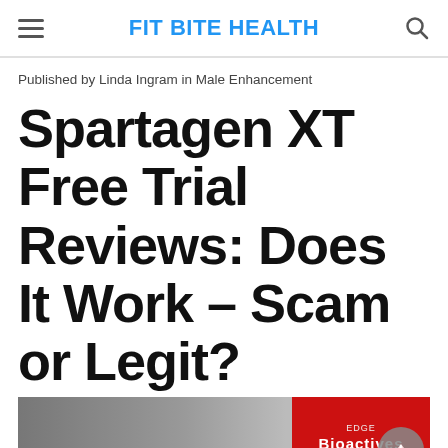FIT BITE HEALTH
Published by Linda Ingram in Male Enhancement
Spartagen XT Free Trial Reviews: Does It Work – Scam or Legit?
[Figure (photo): Partial view of a Spartagen XT product box with red and white branding showing EDGE Bioactives logo]